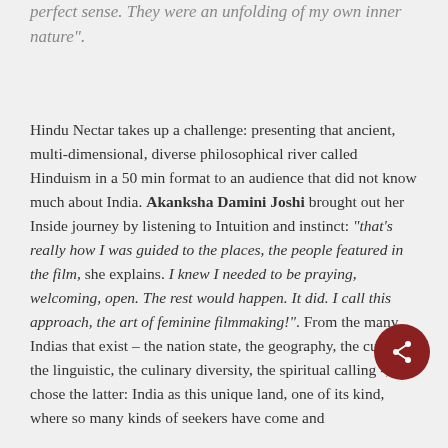perfect sense. They were an unfolding of my own inner nature".
Hindu Nectar takes up a challenge: presenting that ancient, multi-dimensional, diverse philosophical river called Hinduism in a 50 min format to an audience that did not know much about India. Akanksha Damini Joshi brought out her Inside journey by listening to Intuition and instinct: “that’s really how I was guided to the places, the people featured in the film, she explains. I knew I needed to be praying, welcoming, open. The rest would happen. It did. I call this approach, the art of feminine filmmaking!”. From the many Indias that exist – the nation state, the geography, the cultural, the linguistic, the culinary diversity, the spiritual calling -, she chose the latter: India as this unique land, one of its kind, where so many kinds of seekers have come and